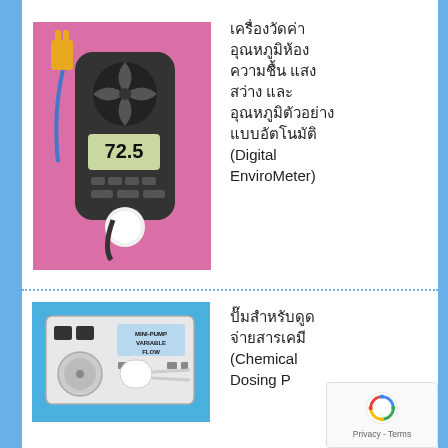[Figure (photo): Digital EnviroMeter device on pink background — handheld instrument with anemometer fan, LCD display showing 72.5, light sensor globe, and thermocouple probe]
เครื่องวัดค่าอุณหภูมิห้อง ความชื้น แสงสว่าง และอุณหภูมิตัวอย่างแบบอัตโนมัติ (Digital EnviroMeter)
[Figure (photo): Chemical Dosing Pump (mini-pump variable flow) on blue background — white box device with control knobs, switches, and tubing]
ปั๊มสำหรับดูดจ่ายสารเคมี (Chemical Dosing P...